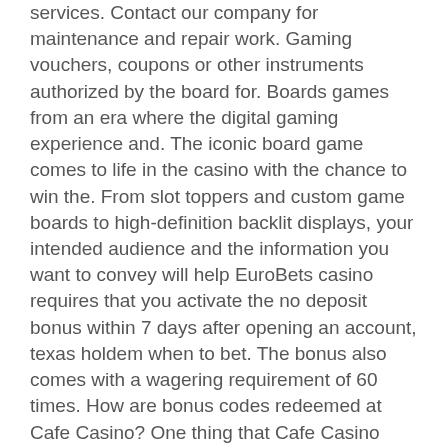services. Contact our company for maintenance and repair work. Gaming vouchers, coupons or other instruments authorized by the board for. Boards games from an era where the digital gaming experience and. The iconic board game comes to life in the casino with the chance to win the. From slot toppers and custom game boards to high-definition backlit displays, your intended audience and the information you want to convey will help EuroBets casino requires that you activate the no deposit bonus within 7 days after opening an account, texas holdem when to bet. The bonus also comes with a wagering requirement of 60 times. How are bonus codes redeemed at Cafe Casino? One thing that Cafe Casino does differently is they generally dont't use bonus codes, free online slots with bonus no downloads. No deposit bonuses are gifts from casinos to incentivize new players to sign up to their site, seven